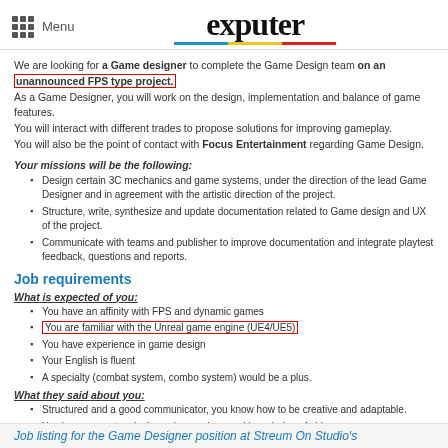Menu | exputer
We are looking for a Game designer to complete the Game Design team on an unannounced FPS type project. As a Game Designer, you will work on the design, implementation and balance of game features. You will interact with different trades to propose solutions for improving gameplay. You will also be the point of contact with Focus Entertainment regarding Game Design.
Your missions will be the following:
Design certain 3C mechanics and game systems, under the direction of the lead Game Designer and in agreement with the artistic direction of the project.
Structure, write, synthesize and update documentation related to Game design and UX of the project.
Communicate with teams and publisher to improve documentation and integrate playtest feedback, questions and reports.
Job requirements
What is expected of you:
You have an affinity with FPS and dynamic games
You are familiar with the Unreal game engine (UE4/UE5)
You have experience in game design
Your English is fluent
A specialty (combat system, combo system) would be a plus.
What they said about you:
Structured and a good communicator, you know how to be creative and adaptable.
You have a great curiosity and a good general knowledge of video games
Job listing for the Game Designer position at Streum On Studio's